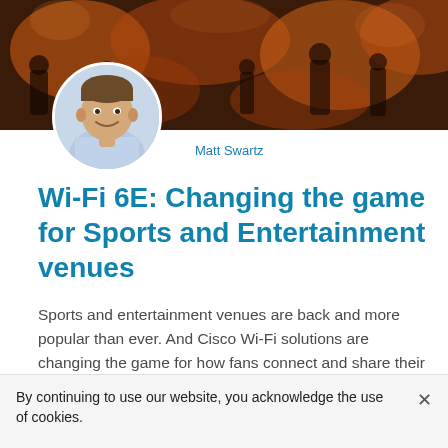[Figure (photo): Hero banner showing a crowd of people at a sports/entertainment venue with warm orange/amber lighting, overlaid with a circular profile photo of Matt Swartz, a man in a light blue checked shirt smiling]
Matt Swartz
Wi-Fi 6E: Changing the game for Sports and Entertainment venues
Sports and entertainment venues are back and more popular than ever. And Cisco Wi-Fi solutions are changing the game for how fans connect and share their experiences.
By continuing to use our website, you acknowledge the use of cookies.